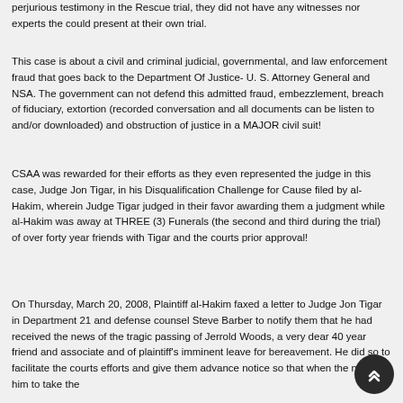perjurious testimony in the Rescue trial, they did not have any witnesses nor experts the could present at their own trial.
This case is about a civil and criminal judicial, governmental, and law enforcement fraud that goes back to the Department Of Justice- U. S. Attorney General and NSA. The government can not defend this admitted fraud, embezzlement, breach of fiduciary, extortion (recorded conversation and all documents can be listen to and/or downloaded) and obstruction of justice in a MAJOR civil suit!
CSAA was rewarded for their efforts as they even represented the judge in this case, Judge Jon Tigar, in his Disqualification Challenge for Cause filed by al-Hakim, wherein Judge Tigar judged in their favor awarding them a judgment while al-Hakim was away at THREE (3) Funerals (the second and third during the trial) of over forty year friends with Tigar and the courts prior approval!
On Thursday, March 20, 2008, Plaintiff al-Hakim faxed a letter to Judge Jon Tigar in Department 21 and defense counsel Steve Barber to notify them that he had received the news of the tragic passing of Jerrold Woods, a very dear 40 year friend and associate and of plaintiff's imminent leave for bereavement. He did so to facilitate the courts efforts and give them advance notice so that when the need for him to take the leave arose, no one could delay with bureaucratic red tape.